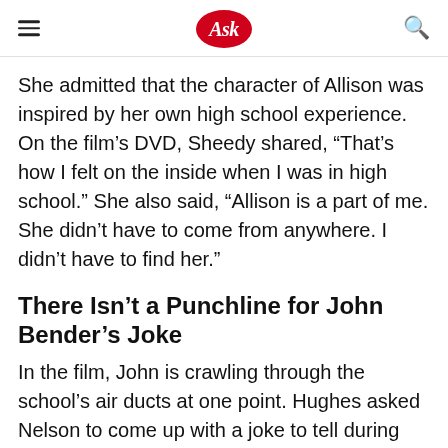Ask
She admitted that the character of Allison was inspired by her own high school experience. On the film’s DVD, Sheedy shared, “That’s how I felt on the inside when I was in high school.” She also said, “Allison is a part of me. She didn’t have to come from anywhere. I didn’t have to find her.”
There Isn’t a Punchline for John Bender’s Joke
In the film, John is crawling through the school’s air ducts at one point. Hughes asked Nelson to come up with a joke to tell during this scene. The result? “A